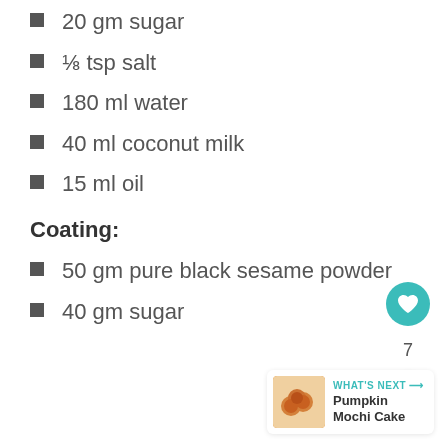20 gm sugar
⅛ tsp salt
180 ml water
40 ml coconut milk
15 ml oil
Coating:
50 gm pure black sesame powder
40 gm sugar